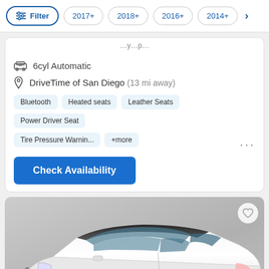Filter  2017+  2018+  2016+  2014+  >
6cyl Automatic
DriveTime of San Diego (13 mi away)
Bluetooth
Heated seats
Leather Seats
Power Driver Seat
Tire Pressure Warnin...
+more
Check Availability
[Figure (photo): White Buick LaCrosse sedan photographed from front-left angle against a light grey background. License plate reads 7A0V060.]